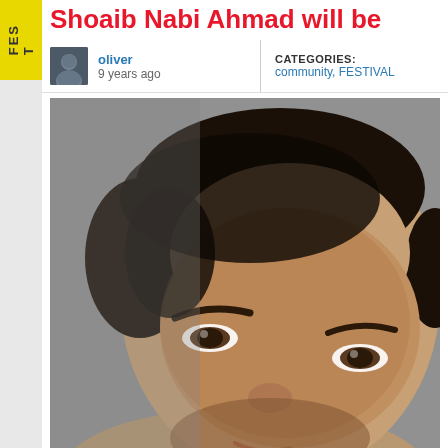Shoaib Nabi Ahmad will be
oliver
9 years ago
CATEGORIES:
community, FESTIVAL
[Figure (photo): Close-up portrait photo of a middle-aged South Asian man with dark hair and stubble, smiling slightly, against a grey background]